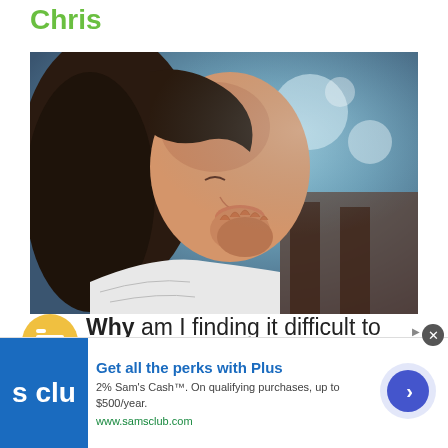Chris
[Figure (photo): A young woman in profile, hands clasped in prayer, with a blurred background]
Why am I finding it difficult to pray? Even
[Figure (logo): Sam's Club advertisement: Get all the perks with Plus. 2% Sam's Cash™. On qualifying purchases, up to $500/year. www.samsclub.com]